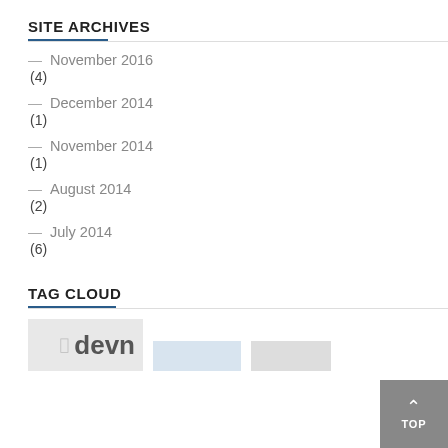SITE ARCHIVES
— November 2016 (4)
— December 2014 (1)
— November 2014 (1)
— August 2014 (2)
— July 2014 (6)
TAG CLOUD
[Figure (infographic): Tag cloud showing website tags including 'devn' as a large tag and smaller tags partially visible]